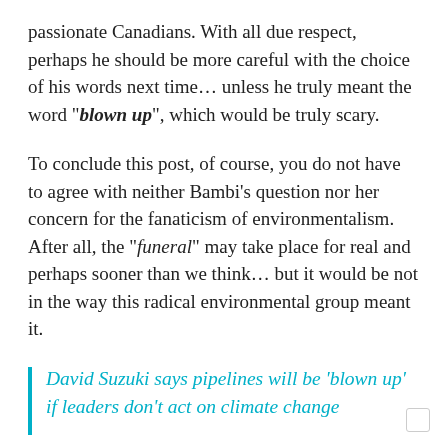passionate Canadians. With all due respect, perhaps he should be more careful with the choice of his words next time… unless he truly meant the word “blown up”, which would be truly scary.
To conclude this post, of course, you do not have to agree with neither Bambi’s question nor her concern for the fanaticism of environmentalism. After all, the “funeral” may take place for real and perhaps sooner than we think… but it would be not in the way this radical environmental group meant it.
David Suzuki says pipelines will be ‘blown up’ if leaders don’t act on climate change